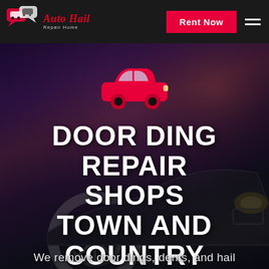Auto Hail Repair Home — Rent Now
[Figure (logo): Auto Hail Repair Home logo with red car chat bubble icon and italic red text]
DOOR DING REPAIR SHOPS TOWN AND COUNTRY WASHINGTON
[Figure (illustration): Red car icon on dark moody sky and car background hero image]
We remove door dings, dents, and hail